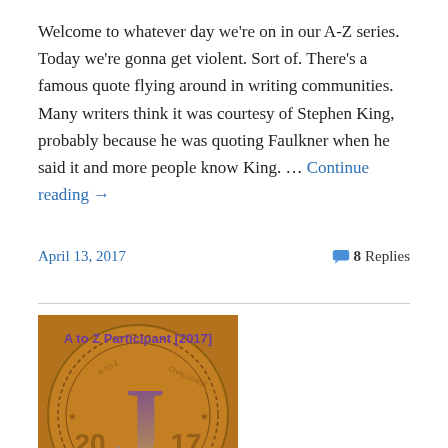Welcome to whatever day we're on in our A-Z series. Today we're gonna get violent. Sort of. There's a famous quote flying around in writing communities. Many writers think it was courtesy of Stephen King, probably because he was quoting Faulkner when he said it and more people know King. … Continue reading →
April 13, 2017   8 Replies
[Figure (illustration): A to Z Participant [2017] badge showing a circular coin-like design with the letter J in the center, '2017' text, and 'Blogging From A to Z' text at the bottom. Brown/amber background with purple design elements.]